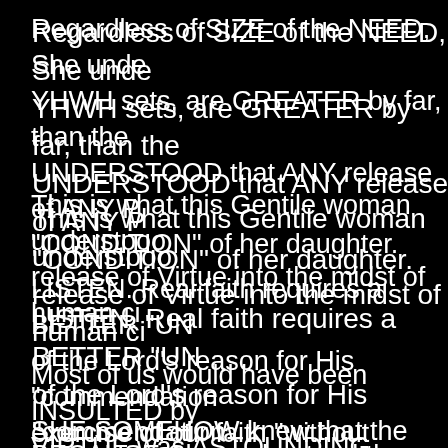Regardless of SIZE of the NEED, She understands YHWH sets, are GREATER by far, than the UNDERSTOOD that ANY release of ANY P "CONDITION" of her daughter.
This is what this Gentile woman understood release of Virtue into the midst of human ci
LISTEN. Real faith requires a BETTER "UN of the Lord's reason for His "commendation exercise of our faith "without results".
Most of us would have been INSULTED by VIRTUE was ASTOUNDING.
SHE SOMEHOW knew that the "RELEASE
BECAUSE She understood there are NO li